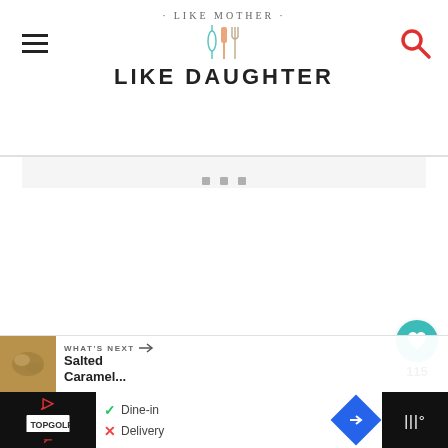· LIKE MOTHER · LIKE DAUGHTER — website header logo
[Figure (screenshot): Ad loading area with three grey dots indicating content loading]
[Figure (infographic): Floating action buttons: teal heart/like button with count 115, and share button]
115
[Figure (infographic): WHAT'S NEXT → Salted Caramel... next article preview with thumbnail]
[Figure (photo): Blurred food/cooking photo strip at bottom of content area]
[Figure (screenshot): Advertisement banner: Topgolf ad with Dine-in and Delivery options, navigation arrow and app icon]